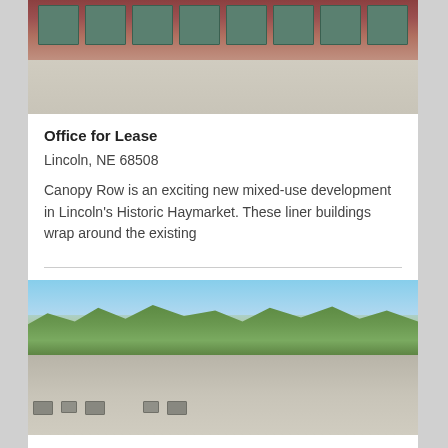[Figure (photo): Exterior photo of brick commercial building with green-tinted windows, viewed from street level with parking area in foreground]
Office for Lease
Lincoln, NE 68508
Canopy Row is an exciting new mixed-use development in Lincoln's Historic Haymarket. These liner buildings wrap around the existing
[Figure (photo): Aerial/elevated view of rooftops with HVAC equipment in foreground and green tree canopy and open landscape in background under blue sky]